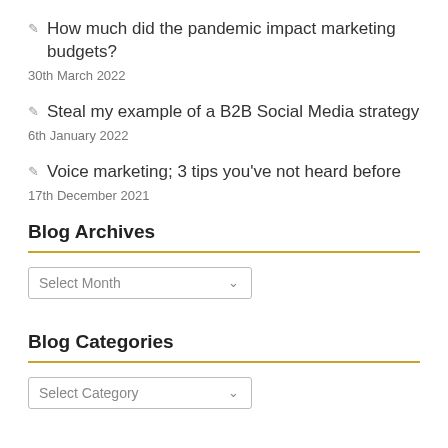✏ How much did the pandemic impact marketing budgets?
30th March 2022
✏ Steal my example of a B2B Social Media strategy
6th January 2022
✏ Voice marketing; 3 tips you've not heard before
17th December 2021
Blog Archives
Select Month
Blog Categories
Select Category